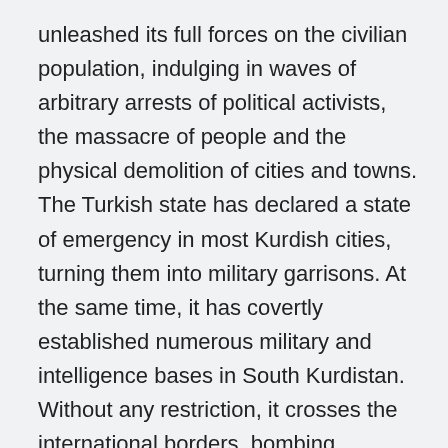unleashed its full forces on the civilian population, indulging in waves of arbitrary arrests of political activists, the massacre of people and the physical demolition of cities and towns. The Turkish state has declared a state of emergency in most Kurdish cities, turning them into military garrisons. At the same time, it has covertly established numerous military and intelligence bases in South Kurdistan. Without any restriction, it crosses the international borders, bombing mountains, forests, farmhouses and even the Mexmûr refugee camp, which has accommodated civilians from North Kurdistan whom the Turkish state expelled twenty years ago.
Yet again, as a pretext to bolster the opponents of